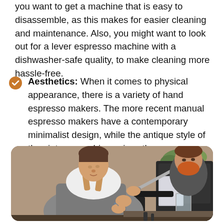you want to get a machine that is easy to disassemble, as this makes for easier cleaning and maintenance. Also, you might want to look out for a lever espresso machine with a dishwasher-safe quality, to make cleaning more hassle-free.
Aesthetics: When it comes to physical appearance, there is a variety of hand espresso makers. The more recent manual espresso makers have a contemporary minimalist design, while the antique style of the vintage machines gives them a fascinating decorative appeal.
[Figure (photo): A barista wearing a grey apron operates an espresso machine. A second person with a red beard is visible in the background. The machine is silver/chrome colored.]